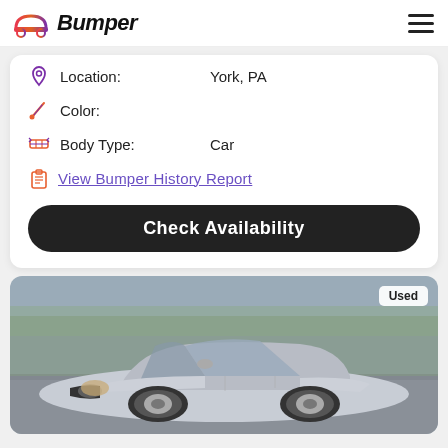Bumper
Location: York, PA
Color:
Body Type: Car
View Bumper History Report
Check Availability
[Figure (photo): Silver used sedan car (Lincoln LS style) parked outdoors on a parking lot, front three-quarter view. Badge 'Used' in top-right corner.]